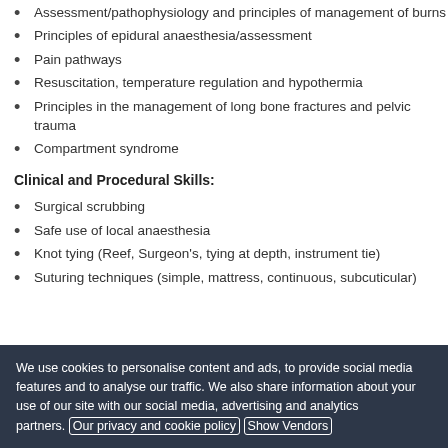Assessment/pathophysiology and principles of management of burns
Principles of epidural anaesthesia/assessment
Pain pathways
Resuscitation, temperature regulation and hypothermia
Principles in the management of long bone fractures and pelvic trauma
Compartment syndrome
Clinical and Procedural Skills:
Surgical scrubbing
Safe use of local anaesthesia
Knot tying (Reef, Surgeon's, tying at depth, instrument tie)
Suturing techniques (simple, mattress, continuous, subcuticular)
We use cookies to personalise content and ads, to provide social media features and to analyse our traffic. We also share information about your use of our site with our social media, advertising and analytics partners. Our privacy and cookie policy Show Vendors